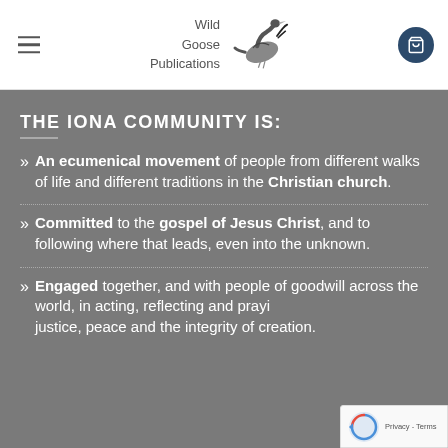Wild Goose Publications
THE IONA COMMUNITY IS:
An ecumenical movement of people from different walks of life and different traditions in the Christian church.
Committed to the gospel of Jesus Christ, and to following where that leads, even into the unknown.
Engaged together, and with people of goodwill across the world, in acting, reflecting and praying for justice, peace and the integrity of creation.